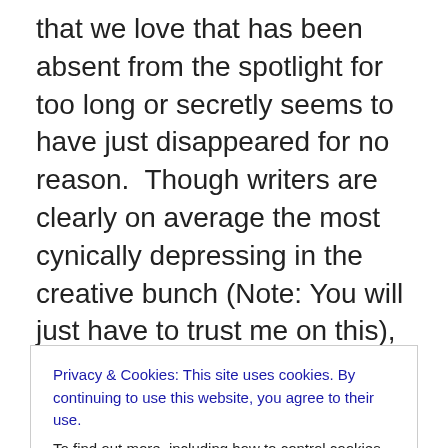that we love that has been absent from the spotlight for too long or secretly seems to have just disappeared for no reason.  Though writers are clearly on average the most cynically depressing in the creative bunch (Note: You will just have to trust me on this), it is interesting to note that my aforementioned Writers Guild discussion segued into one where myself and my peers also listed many famous and infamous talents who were too long absent and whose new works we longed for or whose past works we still reveled in.  Plus – some of them were even friends, acquaintances AND people YOUNGER than us who were
Privacy & Cookies: This site uses cookies. By continuing to use this website, you agree to their use.
To find out more, including how to control cookies, see here: Cookie Policy
Close and accept
work because they show us what is possible in the best-